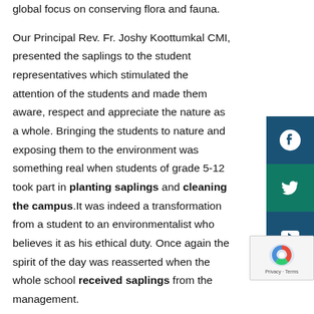global focus on conserving flora and fauna. Our Principal Rev. Fr. Joshy Koottumkal CMI, presented the saplings to the student representatives which stimulated the attention of the students and made them aware, respect and appreciate the nature as a whole. Bringing the students to nature and exposing them to the environment was something real when students of grade 5-12 took part in planting saplings and cleaning the campus.It was indeed a transformation from a student to an environmentalist who believes it as his ethical duty. Once again the spirit of the day was reasserted when the whole school received saplings from the management. A thematic dance, Mother Earth, was also presented by the school that raised global awareness on our surroundings and the need to protect our planet Earth.
[Figure (other): Social media sidebar buttons: Facebook, Twitter, YouTube icons on dark teal/blue backgrounds]
[Figure (other): reCAPTCHA widget showing logo and Privacy/Terms text]